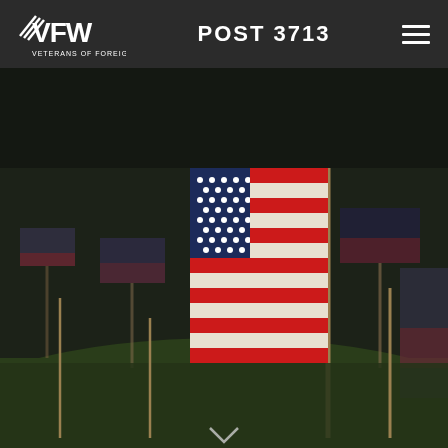VFW POST 3713
[Figure (photo): Field of American flags planted in green grass, with a large US flag in the foreground showing stars and stripes, set against a dark background. Multiple smaller flags recede into the background.]